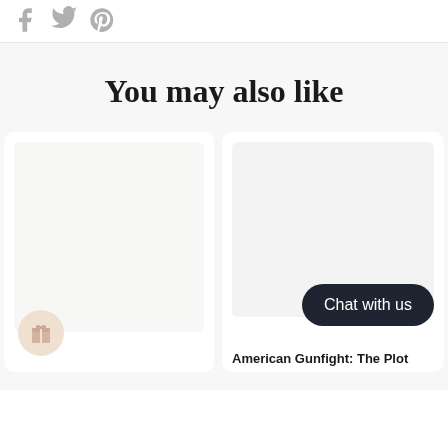[Figure (illustration): Three social media share icons (Facebook, Twitter, Pinterest) in gray at the top left]
You may also like
[Figure (illustration): Left product card with light gray placeholder image and a gift badge icon at bottom left]
[Figure (illustration): Right product card with light gray placeholder image, a 'Chat with us' dark rounded button, and a label reading 'American Gunfight: The Plot']
American Gunfight: The Plot